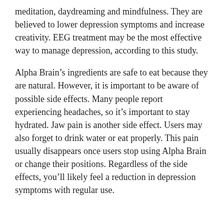meditation, daydreaming and mindfulness. They are believed to lower depression symptoms and increase creativity. EEG treatment may be the most effective way to manage depression, according to this study.
Alpha Brain’s ingredients are safe to eat because they are natural. However, it is important to be aware of possible side effects. Many people report experiencing headaches, so it’s important to stay hydrated. Jaw pain is another side effect. Users may also forget to drink water or eat properly. This pain usually disappears once users stop using Alpha Brain or change their positions. Regardless of the side effects, you’ll likely feel a reduction in depression symptoms with regular use.